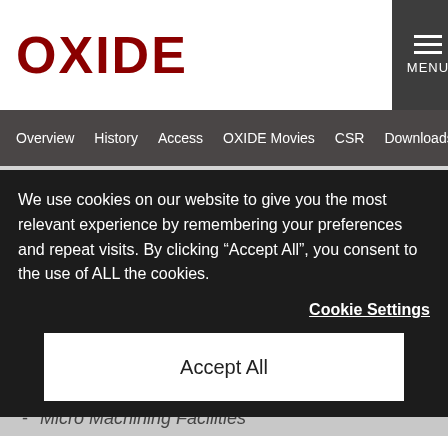OXIDE
MENU
Overview | History | Access | OXIDE Movies | CSR | Downloads
- Optical Measurement Systems
- Components
FACILITIES
- Crystal Growth Facilities
- Optical Characterization Facilities
- Fabrication Facilities
- Micro Machining Facilities
We use cookies on our website to give you the most relevant experience by remembering your preferences and repeat visits. By clicking “Accept All”, you consent to the use of ALL the cookies.
Cookie Settings
Accept All